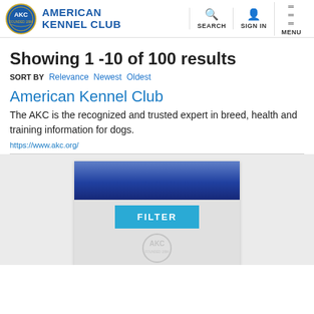American Kennel Club – SEARCH | SIGN IN | MENU
Showing 1 -10 of 100 results
SORT BY  Relevance  Newest  Oldest
American Kennel Club
The AKC is the recognized and trusted expert in breed, health and training information for dogs.
https://www.akc.org/
[Figure (screenshot): A thumbnail card showing a dark blue banner at top and a cyan FILTER button below on a light grey background, with a faint AKC watermark logo.]